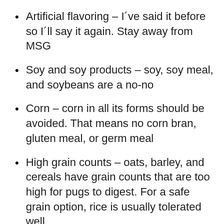Artificial flavoring – I´ve said it before so I´ll say it again. Stay away from MSG
Soy and soy products – soy, soy meal, and soybeans are a no-no
Corn – corn in all its forms should be avoided. That means no corn bran, gluten meal, or germ meal
High grain counts – oats, barley, and cereals have grain counts that are too high for pugs to digest. For a safe grain option, rice is usually tolerated well